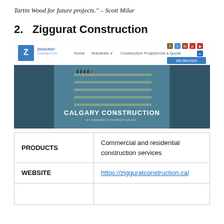Tartin Wood for future projects." – Scott Milar
2.   Ziggurat Construction
[Figure (screenshot): Screenshot of Ziggurat Construction website homepage showing navigation bar with Home, Industries, Construction Projects, Get a Quote links, social media icons, phone number 403.669.6520, and a hero image of a construction interior with text CALGARY CONSTRUCTION BY ZIGGURAT CONSTRUCTION INC.]
| PRODUCTS | Commercial and residential construction services |
| WEBSITE | https://zigguratconstruction.ca/ |
|  |  |